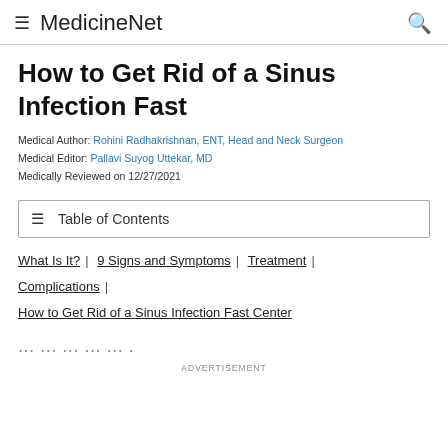≡ MedicineNet 🔍
How to Get Rid of a Sinus Infection Fast
Medical Author: Rohini Radhakrishnan, ENT, Head and Neck Surgeon
Medical Editor: Pallavi Suyog Uttekar, MD
Medically Reviewed on 12/27/2021
Table of Contents
What Is It?
9 Signs and Symptoms
Treatment
Complications
How to Get Rid of a Sinus Infection Fast Center
ADVERTISEMENT